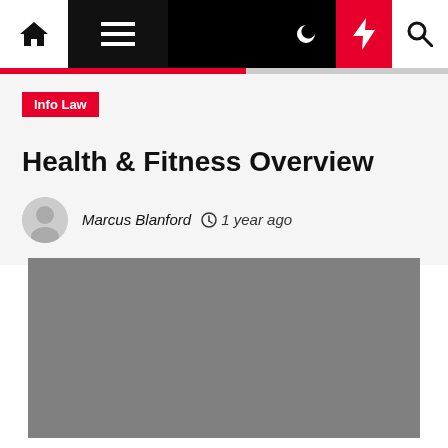Info Law — Health & Fitness Overview — Marcus Blanford — 1 year ago
Health & Fitness Overview
Marcus Blanford  1 year ago
[Figure (photo): Gray placeholder image block]